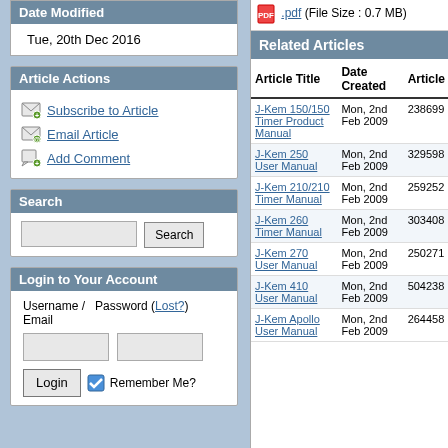Date Modified
Tue, 20th Dec 2016
Article Actions
Subscribe to Article
Email Article
Add Comment
Search
Login to Your Account
Username / Email
Password (Lost?)
Remember Me?
.pdf (File Size : 0.7 MB)
Related Articles
| Article Title | Date Created | Article |
| --- | --- | --- |
| J-Kem 150/150 Timer Product Manual | Mon, 2nd Feb 2009 | 238699 |
| J-Kem 250 User Manual | Mon, 2nd Feb 2009 | 329598 |
| J-Kem 210/210 Timer Manual | Mon, 2nd Feb 2009 | 259252 |
| J-Kem 260 Timer Manual | Mon, 2nd Feb 2009 | 303408 |
| J-Kem 270 User Manual | Mon, 2nd Feb 2009 | 250271 |
| J-Kem 410 User Manual | Mon, 2nd Feb 2009 | 504238 |
| J-Kem Apollo User Manual | Mon, 2nd Feb 2009 | 264458 |